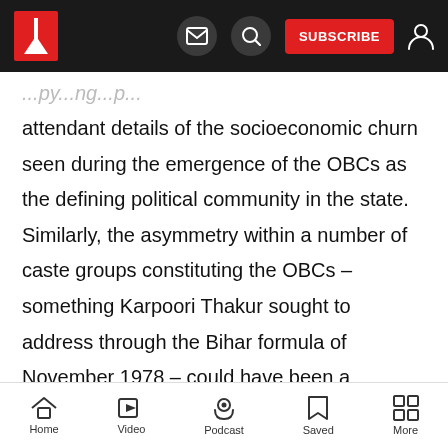Indian Express app navigation bar with logo, email, search, SUBSCRIBE, and user icons
attendant details of the socioeconomic churn seen during the emergence of the OBCs as the defining political community in the state. Similarly, the asymmetry within a number of caste groups constituting the OBCs – something Karpoori Thakur sought to address through the Bihar formula of November 1978 – could have been a significant aspect to revisit. Arun Sinha, one of Singh's predecessors at the Patna bureau of the Indian Express, had hinted at some of the
Home  Video  Podcast  Saved  More